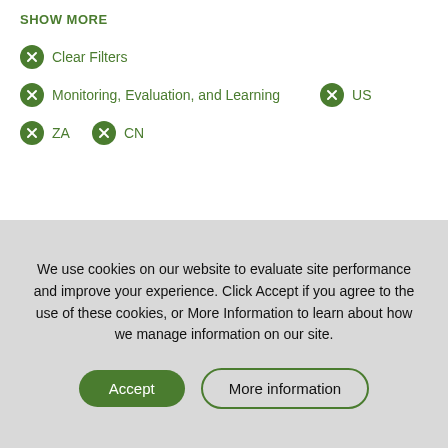SHOW MORE
Clear Filters
Monitoring, Evaluation, and Learning   US
ZA   CN
We use cookies on our website to evaluate site performance and improve your experience. Click Accept if you agree to the use of these cookies, or More Information to learn about how we manage information on our site.